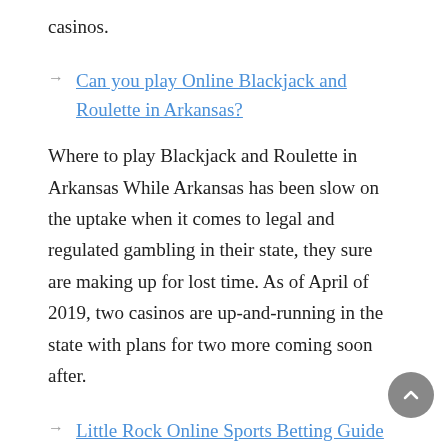casinos.
→ Can you play Online Blackjack and Roulette in Arkansas?
Where to play Blackjack and Roulette in Arkansas While Arkansas has been slow on the uptake when it comes to legal and regulated gambling in their state, they sure are making up for lost time. As of April of 2019, two casinos are up-and-running in the state with plans for two more coming soon after.
→ Little Rock Online Sports Betting Guide 2020
This is our sad overview of Little Rock (AR) online sports betting options. Check the gambling sites, legal